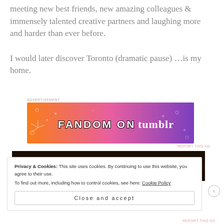meeting new best friends, new amazing colleagues & immensely talented creative partners and laughing more and harder than ever before.
I would later discover Toronto (dramatic pause) …is my home.
[Figure (illustration): Fandom on Tumblr advertisement banner with orange-to-purple gradient background and doodle decorations]
[Figure (photo): Dark image, appears to be a dimly lit scene, mostly dark brown/black]
Privacy & Cookies: This site uses cookies. By continuing to use this website, you agree to their use.
To find out more, including how to control cookies, see here: Cookie Policy
Close and accept